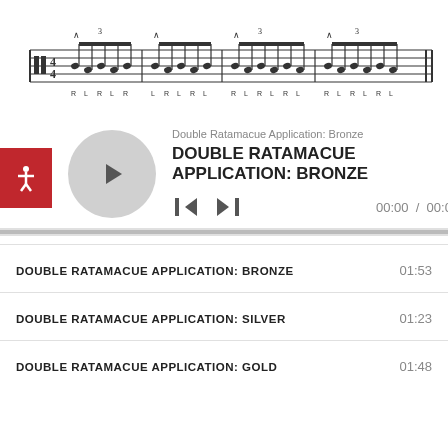[Figure (illustration): Sheet music notation showing drum rudiment pattern with R and L sticking indicators below the notes. Shows four groups of notes with beaming, accent marks, and triplet brackets.]
Double Ratamacue Application: Bronze
DOUBLE RATAMACUE APPLICATION: BRONZE
00:00 / 00:00
DOUBLE RATAMACUE APPLICATION: BRONZE  01:53
DOUBLE RATAMACUE APPLICATION: SILVER  01:23
DOUBLE RATAMACUE APPLICATION: GOLD  01:48